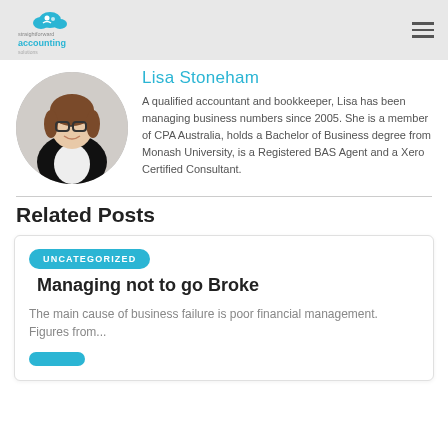Straightforward Accounting Solutions
Lisa Stoneham
A qualified accountant and bookkeeper, Lisa has been managing business numbers since 2005. She is a member of CPA Australia, holds a Bachelor of Business degree from Monash University, is a Registered BAS Agent and a Xero Certified Consultant.
Related Posts
UNCATEGORIZED
Managing not to go Broke
The main cause of business failure is poor financial management. Figures from...